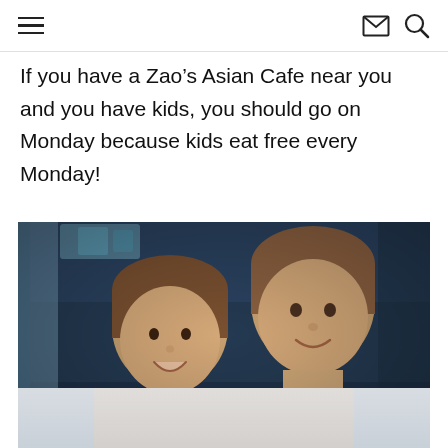Navigation header with hamburger menu, mail icon, and search icon
If you have a Zao’s Asian Cafe near you and you have kids, you should go on Monday because kids eat free every Monday!
[Figure (photo): Two young girls smiling in a restaurant booth with dark blue leather seats. The younger girl is on the left leaning on the older girl, who is wearing a navy and white striped top.]